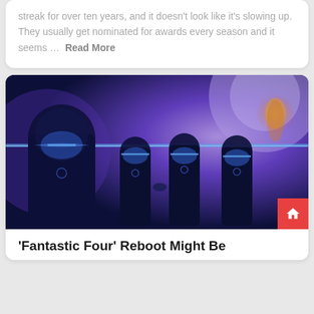streak for over ten years, and it doesn't look like it's slowing up. They usually get nominated for awards every season and it seems … Read More
[Figure (photo): Promotional image of the Fantastic Four movie showing four superhero silhouettes in dark blue suits with glowing blue light effects against a purple cosmic background]
'Fantastic Four' Reboot Might Be